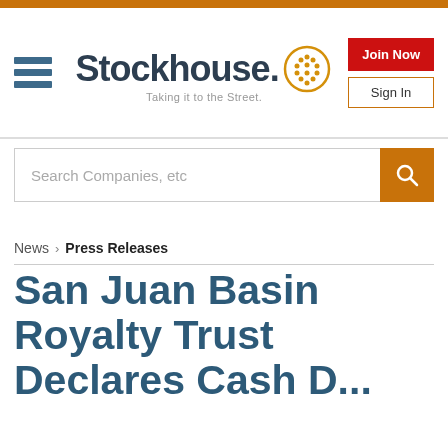[Figure (logo): Stockhouse logo with icon and tagline 'Taking it to the Street.']
Search Companies, etc
News > Press Releases
San Juan Basin Royalty Trust Declares Cash D...